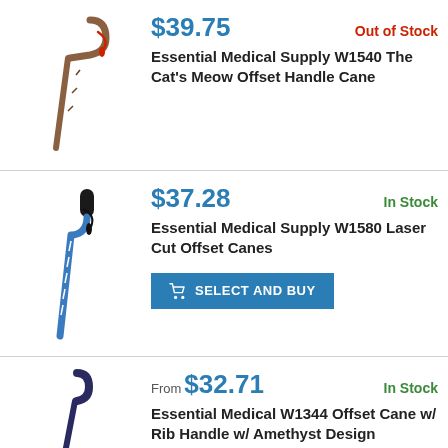[Figure (photo): Decorative offset handle cane with cat's meow floral pattern and red wrist strap]
$39.75
Out of Stock
Essential Medical Supply W1540 The Cat's Meow Offset Handle Cane
[Figure (photo): Blue striped laser cut offset cane with black foam handle and black wrist strap]
$37.28
In Stock
Essential Medical Supply W1580 Laser Cut Offset Canes
SELECT AND BUY
[Figure (photo): Dark blue/navy offset cane with rib handle and amethyst design]
From $32.71
In Stock
Essential Medical W1344 Offset Cane w/ Rib Handle w/ Amethyst Design